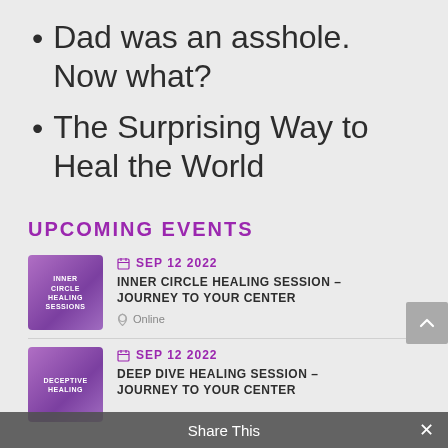Dad was an asshole. Now what?
The Surprising Way to Heal the World
UPCOMING EVENTS
[Figure (illustration): Purple gradient square thumbnail with text INNER CIRCLE HEALING SESSIONS]
SEP 12 2022
INNER CIRCLE HEALING SESSION – JOURNEY TO YOUR CENTER
Online
[Figure (illustration): Purple gradient square thumbnail with text DECEPTIVE HEALING]
SEP 12 2022
DEEP DIVE HEALING SESSION – JOURNEY TO YOUR CENTER
Share This